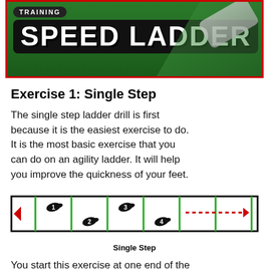[Figure (photo): Speed Ladder training banner with green grass background, red border, bold white 'SPEED LADDER' text on dark background, 'TRAINING' label at top, sneakers visible on right side]
Exercise 1: Single Step
The single step ladder drill is first because it is the easiest exercise to do. It is the most basic exercise that you can do on an agility ladder. It will help you improve the quickness of your feet.
[Figure (illustration): Speed ladder drill diagram showing footstep sequence numbered 1-4 in ladder rungs, with red arrows indicating direction of movement, and dotted red line trailing off to the right arrow. Footsteps 1 and 3 are on top row, 2 and 4 on bottom row.]
Single Step
You start this exercise at one end of the